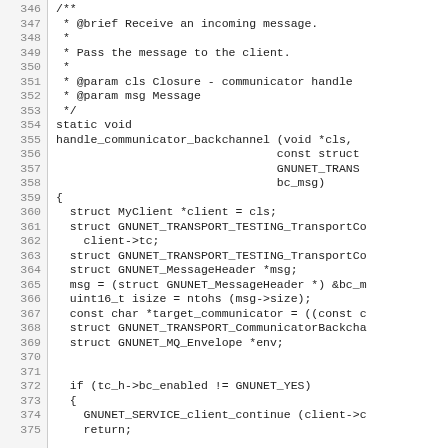Source code listing lines 346-375 of a C file implementing handle_communicator_backchannel function